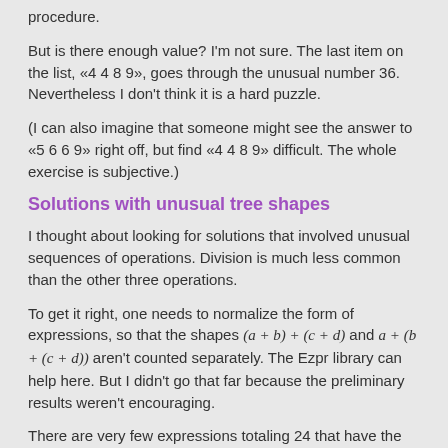procedure.
But is there enough value? I'm not sure. The last item on the list, «4 4 8 9», goes through the unusual number 36. Nevertheless I don't think it is a hard puzzle.
(I can also imagine that someone might see the answer to «5 6 6 9» right off, but find «4 4 8 9» difficult. The whole exercise is subjective.)
Solutions with unusual tree shapes
I thought about looking for solutions that involved unusual sequences of operations. Division is much less common than the other three operations.
To get it right, one needs to normalize the form of expressions, so that the shapes (a + b) + (c + d) and a + (b + (c + d)) aren't counted separately. The Ezpr library can help here. But I didn't go that far because the preliminary results weren't encouraging.
There are very few expressions totaling 24 that have the form (a ÷ b) ÷ (c ÷ d). But if someone gives you a puzzle with a solution in that form, then...